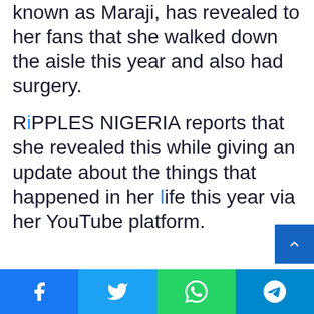known as Maraji, has revealed to her fans that she walked down the aisle this year and also had surgery.
RIPPLES NIGERIA reports that she revealed this while giving an update about the things that happened in her life this year via her YouTube platform.